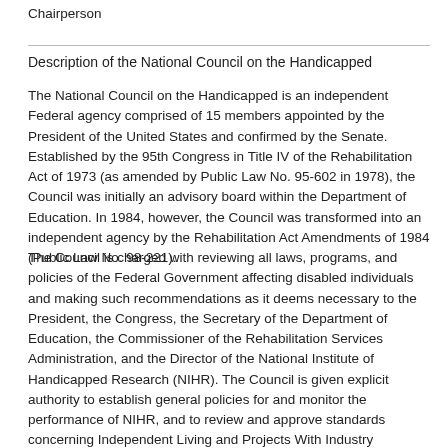Chairperson
Description of the National Council on the Handicapped
The National Council on the Handicapped is an independent Federal agency comprised of 15 members appointed by the President of the United States and confirmed by the Senate. Established by the 95th Congress in Title IV of the Rehabilitation Act of 1973 (as amended by Public Law No. 95-602 in 1978), the Council was initially an advisory board within the Department of Education. In 1984, however, the Council was transformed into an independent agency by the Rehabilitation Act Amendments of 1984 (Public Law No. 98-221).
The Council is charged with reviewing all laws, programs, and policies of the Federal Government affecting disabled individuals and making such recommendations as it deems necessary to the President, the Congress, the Secretary of the Department of Education, the Commissioner of the Rehabilitation Services Administration, and the Director of the National Institute of Handicapped Research (NIHR). The Council is given explicit authority to establish general policies for and monitor the performance of NIHR, and to review and approve standards concerning Independent Living and Projects With Industry programs. In addition, the Council has been statutorily directed to submit to the President and the Congress, by February of 1986, the present report analyzing Federal programs and presenting legislative recommendations to enhance the productivity and quality of life of Americans with disabilities.